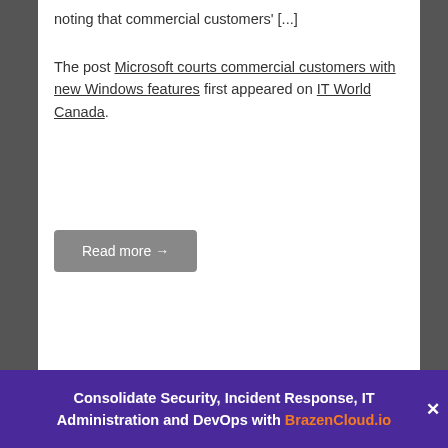noting that commercial customers' [...]
The post Microsoft courts commercial customers with new Windows features first appeared on IT World Canada.
Read more →
GLOBAL IT NEWS
Windows 11 will block WEP and TKIP Wi-Fi connections
by Tom Li • February 18, 2022
Consolidate Security, Incident Response, IT Administration and DevOps with BrazenCloud.io